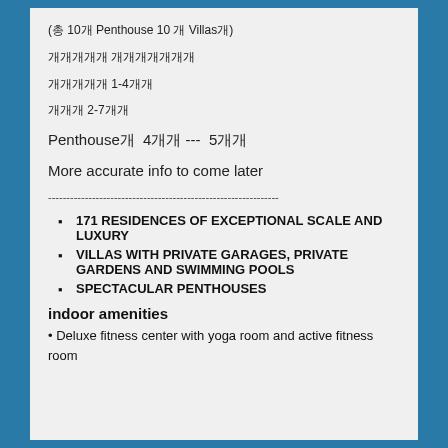(총 10개 Penthouse 10 개 Villas개)
개개개개개 개개개개개개개
개개개개개 1-4개개
개개개 2-7개개
Penthouse개  4개개 ---  5개개
More accurate info to come later
---------------------------------------------------------------
171 RESIDENCES OF EXCEPTIONAL SCALE AND LUXURY
VILLAS WITH PRIVATE GARAGES, PRIVATE GARDENS AND SWIMMING POOLS
SPECTACULAR PENTHOUSES
indoor amenities
• Deluxe fitness center with yoga room and active fitness room